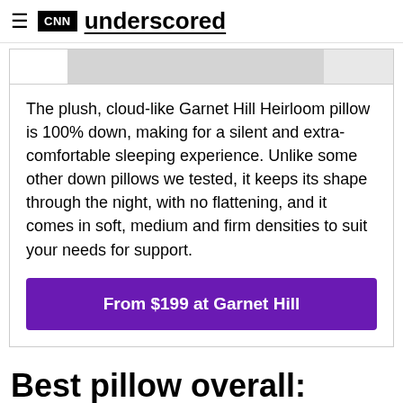CNN underscored
[Figure (photo): Partial product image of a pillow on light gray background]
The plush, cloud-like Garnet Hill Heirloom pillow is 100% down, making for a silent and extra-comfortable sleeping experience. Unlike some other down pillows we tested, it keeps its shape through the night, with no flattening, and it comes in soft, medium and firm densities to suit your needs for support.
From $199 at Garnet Hill
Best pillow overall: Coop Home Goods The Eden